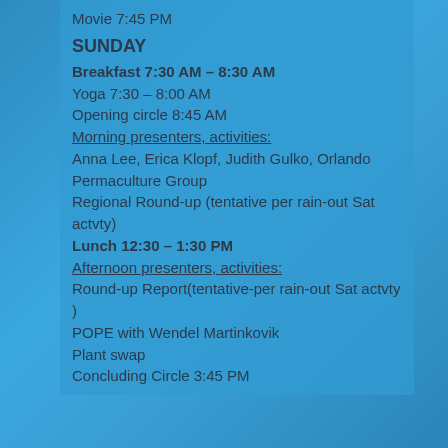Movie 7:45 PM
SUNDAY
Breakfast 7:30 AM – 8:30 AM
Yoga 7:30 – 8:00 AM
Opening circle 8:45 AM
Morning presenters, activities:
Anna Lee, Erica Klopf, Judith Gulko, Orlando Permaculture Group
Regional Round-up (tentative per rain-out Sat actvty)
Lunch 12:30 – 1:30 PM
Afternoon presenters, activities:
Round-up Report(tentative-per rain-out Sat actvty )
POPE with Wendel Martinkovik
Plant swap
Concluding Circle 3:45 PM